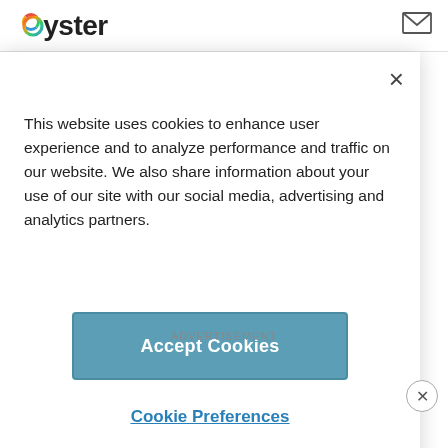Oyster
This website uses cookies to enhance user experience and to analyze performance and traffic on our website. We also share information about your use of our site with our social media, advertising and analytics partners.
Accept Cookies
Cookie Preferences
Insider Tip No. 1: Arrive at the park a half-hour before the rides open. If it's a struggle to get out of the hotel, opt for having breakfast at the park. Hollywood & Vine is a solid choice and sets visitors up well to dash over to the Tower
ADVERTISEMENT